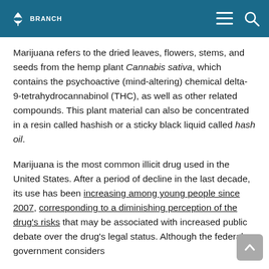BRANCH
Marijuana refers to the dried leaves, flowers, stems, and seeds from the hemp plant Cannabis sativa, which contains the psychoactive (mind-altering) chemical delta-9-tetrahydrocannabinol (THC), as well as other related compounds. This plant material can also be concentrated in a resin called hashish or a sticky black liquid called hash oil.
Marijuana is the most common illicit drug used in the United States. After a period of decline in the last decade, its use has been increasing among young people since 2007, corresponding to a diminishing perception of the drug's risks that may be associated with increased public debate over the drug's legal status. Although the federal government considers